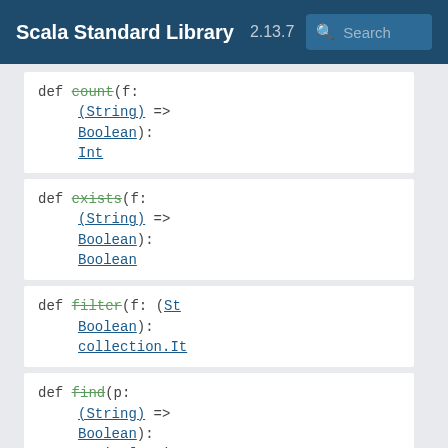Scala Standard Library 2.13.7 Search
def count(f: (String) => Boolean): Int
def exists(f: (String) => Boolean): Boolean
def filter(f: (St Boolean): collection.It
def find(p: (String) => Boolean): Option[String
def flatMap[B](f: collection.It collection.It
def fold[A1 >: A](z: A1)